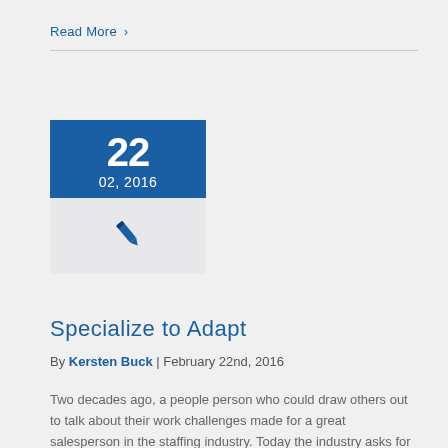Read More >
[Figure (other): Calendar date block showing day 22 and month/year 02, 2016 in blue, with a pen/writing icon below in a light grey box]
Specialize to Adapt
By Kersten Buck | February 22nd, 2016
Two decades ago, a people person who could draw others out to talk about their work challenges made for a great salesperson in the staffing industry. Today the industry asks for techsavvy subject-matter experts who understand the client's need. To be successful, salespeople need to embrace the new reality. Here's how.